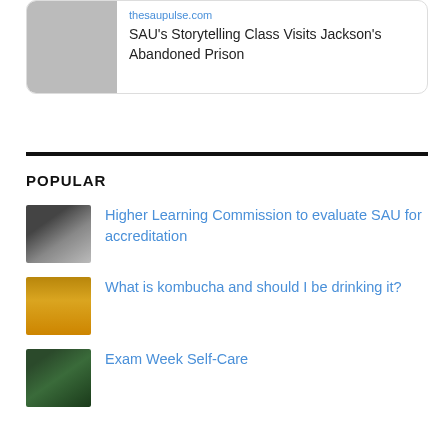[Figure (screenshot): Article card with image, URL (thesaupulse.com), and title 'SAU's Storytelling Class Visits Jackson's Abandoned Prison']
POPULAR
Higher Learning Commission to evaluate SAU for accreditation
What is kombucha and should I be drinking it?
Exam Week Self-Care